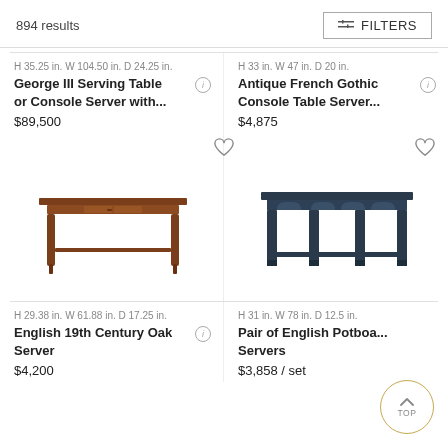894 results
FILTERS
H 35.25 in. W 104.50 in. D 24.25 in.
George III Serving Table or Console Server with...
$89,500
H 33 in. W 47 in. D 20 in.
Antique French Gothic Console Table Server...
$4,875
[Figure (photo): Brown wooden console/server table with tapered legs and drawer]
[Figure (photo): Blue/dark painted console table server with arch details]
H 29.38 in. W 61.88 in. D 17.25 in.
English 19th Century Oak Server
$4,200
H 31 in. W 78 in. D 12.5 in.
Pair of English Potboa... Servers
$3,858 / set